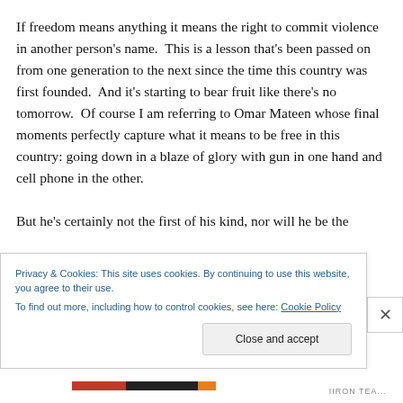If freedom means anything it means the right to commit violence in another person's name.  This is a lesson that's been passed on from one generation to the next since the time this country was first founded.  And it's starting to bear fruit like there's no tomorrow.  Of course I am referring to Omar Mateen whose final moments perfectly capture what it means to be free in this country: going down in a blaze of glory with gun in one hand and cell phone in the other.

But he's certainly not the first of his kind, nor will he be the
Privacy & Cookies: This site uses cookies. By continuing to use this website, you agree to their use.
To find out more, including how to control cookies, see here: Cookie Policy
Close and accept